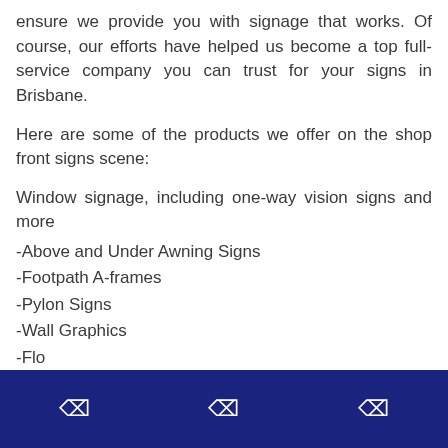ensure we provide you with signage that works. Of course, our efforts have helped us become a top full-service company you can trust for your signs in Brisbane.
Here are some of the products we offer on the shop front signs scene:
Window signage, including one-way vision signs and more
-Above and Under Awning Signs
-Footpath A-frames
-Pylon Signs
-Wall Graphics
-Flo...
[ icon ] [ icon ] [ icon ]